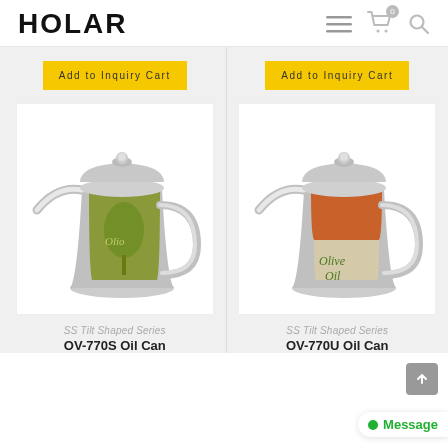HOLAR
[Figure (photo): Stainless steel olive oil can with green label showing olive tree graphic - OV-770S]
[Figure (photo): Stainless steel olive oil can with orange/beige label showing Olive Oil text - OV-770U]
Add to Inquiry Cart
Add to Inquiry Cart
SS Tilt Shaped Series
OV-770S Oil Can
SS Tilt Shaped Series
OV-770U Oil Can
Message